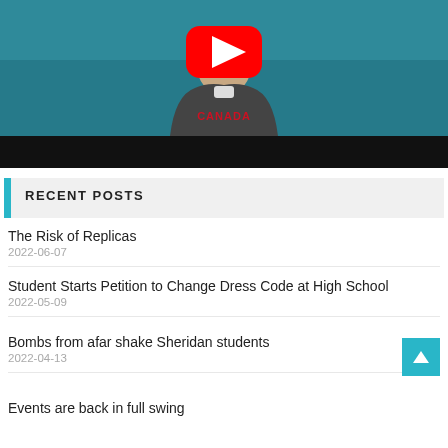[Figure (screenshot): YouTube video thumbnail showing a man wearing a Canada hoodie against a teal/dark background, with a YouTube play button overlay and a black bar at the bottom.]
RECENT POSTS
The Risk of Replicas
2022-06-07
Student Starts Petition to Change Dress Code at High School
2022-05-09
Bombs from afar shake Sheridan students
2022-04-13
Events are back in full swing